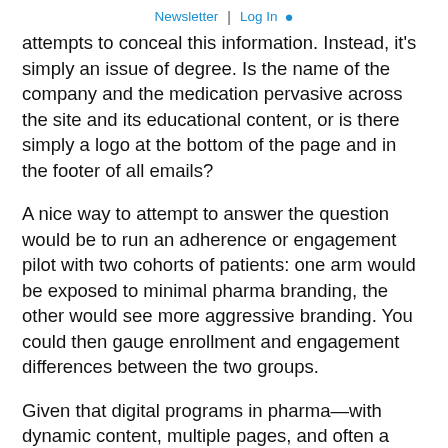Newsletter | Log In
attempts to conceal this information. Instead, it's simply an issue of degree. Is the name of the company and the medication pervasive across the site and its educational content, or is there simply a logo at the bottom of the page and in the footer of all emails?
A nice way to attempt to answer the question would be to run an adherence or engagement pilot with two cohorts of patients: one arm would be exposed to minimal pharma branding, the other would see more aggressive branding. You could then gauge enrollment and engagement differences between the two groups.
Given that digital programs in pharma—with dynamic content, multiple pages, and often a